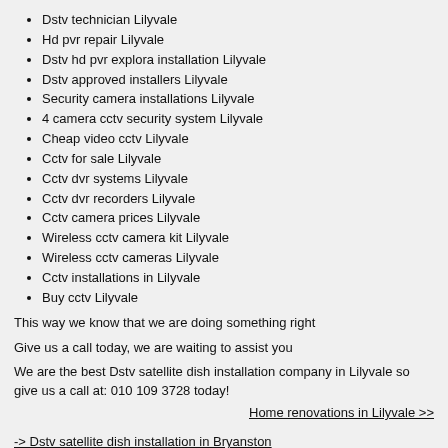Dstv technician Lilyvale
Hd pvr repair Lilyvale
Dstv hd pvr explora installation Lilyvale
Dstv approved installers Lilyvale
Security camera installations Lilyvale
4 camera cctv security system Lilyvale
Cheap video cctv Lilyvale
Cctv for sale Lilyvale
Cctv dvr systems Lilyvale
Cctv dvr recorders Lilyvale
Cctv camera prices Lilyvale
Wireless cctv camera kit Lilyvale
Wireless cctv cameras Lilyvale
Cctv installations in Lilyvale
Buy cctv Lilyvale
This way we know that we are doing something right
Give us a call today, we are waiting to assist you
We are the best Dstv satellite dish installation company in Lilyvale so give us a call at: 010 109 3728 today!
Home renovations in Lilyvale >>
-> Dstv satellite dish installation in Bryanston
• Dstv satellite dish installation in Anson Hills